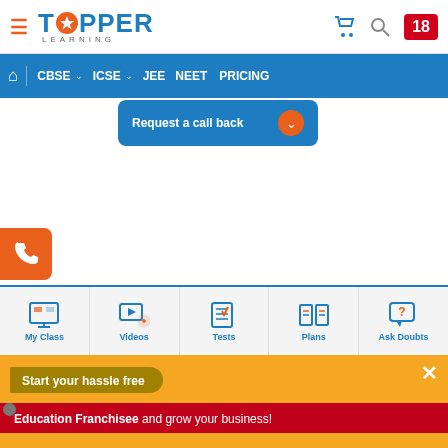[Figure (screenshot): TopperLearning website header with logo, navigation bar, request a call back dropdown, phone button, bottom navigation with My Class, Videos, Tests, Plans, Ask Doubts, and franchise banner at bottom]
TOPPER LEARNING
CBSE  ICSE  JEE  NEET  PRICING
Request a call back
My Class  Videos  Tests  Plans  Ask Doubts
Start your hassle free
Education Franchisee and grow your business!